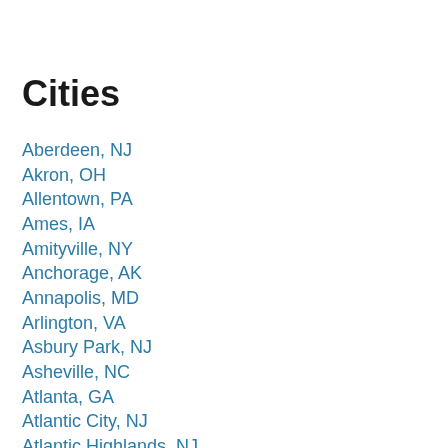Cities
Aberdeen, NJ
Akron, OH
Allentown, PA
Ames, IA
Amityville, NY
Anchorage, AK
Annapolis, MD
Arlington, VA
Asbury Park, NJ
Asheville, NC
Atlanta, GA
Atlantic City, NJ
Atlantic Highlands, NJ
Austin, TX
Baltimore, MD
Baton Rouge, LA
Bellingham, WA